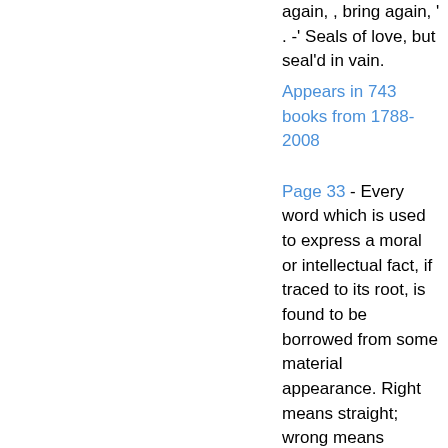again, , bring again, ' . -' Seals of love, but seal'd in vain.
Appears in 743 books from 1788-2008
Page 33 - Every word which is used to express a moral or intellectual fact, if traced to its root, is found to be borrowed from some material appearance. Right means straight; wrong means twisted. Spirit primarily means wind; transgression, the crossing of a line; supercilious, the raising of the eyebrow.
Appears in 135 books from 1846-2007